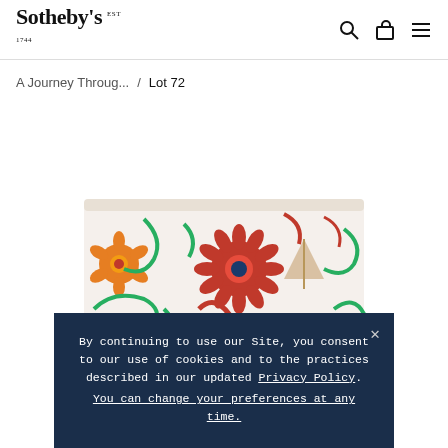Sotheby's EST 1744
A Journey Throug... / Lot 72
[Figure (photo): A decorative Chinese porcelain cup or brush pot with colorful floral and scrollwork patterns in red, blue, green, and gold on a white ground, partially visible from the top portion.]
By continuing to use our Site, you consent to our use of cookies and to the practices described in our updated Privacy Policy. You can change your preferences at any time.